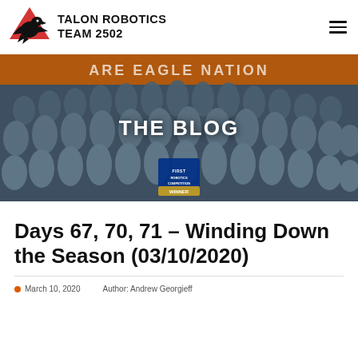TALON ROBOTICS TEAM 2502
[Figure (photo): Group photo of Talon Robotics Team 2502 students wearing matching blue/grey team t-shirts, posed in front of a banner reading 'ARE EAGLE NATION'. The team is holding a FIRST Robotics Competition WINNER sign.]
THE BLOG
Days 67, 70, 71 – Winding Down the Season (03/10/2020)
March 10, 2020   Author: Andrew Georgieff